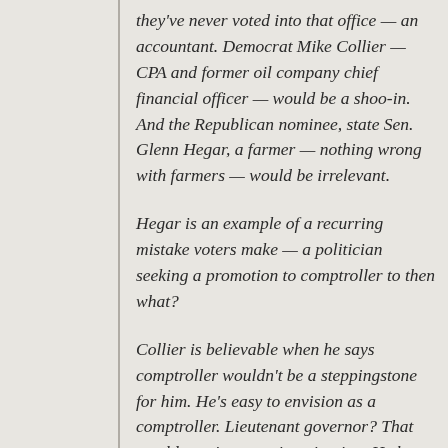they've never voted into that office — an accountant. Democrat Mike Collier — CPA and former oil company chief financial officer — would be a shoo-in. And the Republican nominee, state Sen. Glenn Hegar, a farmer — nothing wrong with farmers — would be irrelevant.
Hegar is an example of a recurring mistake voters make — a politician seeking a promotion to comptroller to then what?
Collier is believable when he says comptroller wouldn't be a steppingstone for him. He's easy to envision as a comptroller. Lieutenant governor? That would require some imagination. He has never run for office, says he wants to take the politics out of this one and —